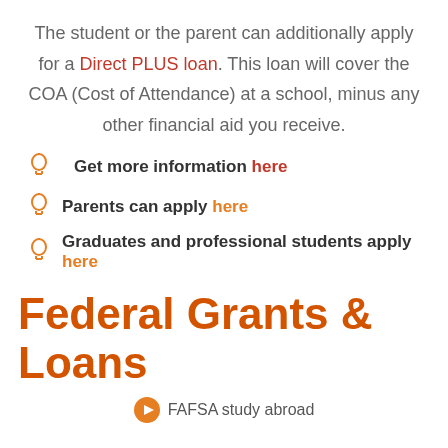The student or the parent can additionally apply for a Direct PLUS loan. This loan will cover the COA (Cost of Attendance) at a school, minus any other financial aid you receive.
Get more information here
Parents can apply here
Graduates and professional students apply here
Federal Grants & Loans
FAFSA study abroad